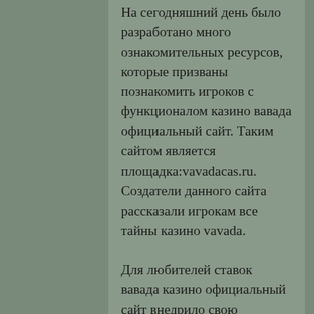На сегодняшний день было разработано много ознакомительных ресурсов, которые призваны познакомить игроков с функционалом казино вавада официальный сайт. Таким сайтом является площадка:vavadacas.ru. Создатели данного сайта рассказали игрокам все тайны казино vavada.
Для любителей ставок вавада казино официальный сайт внедрило свою букмекерскую контору, которая прекрасно вписывается в общий функционал казино. Для ввода и вывода денег в казино доступно широкое разнообразие платежных систем, что позволит буквально каждому игроку попробовать